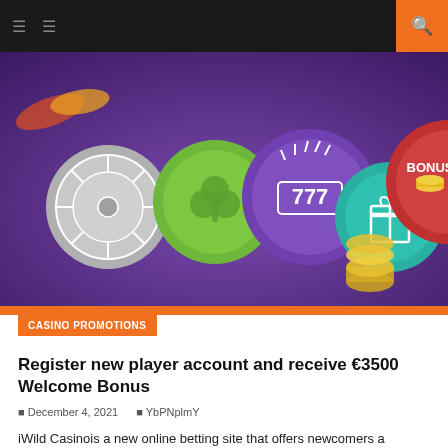Navigation header with menu icons and search button
[Figure (illustration): Casino promotional banner showing colorful circular tokens/coins with symbols: 777 slot machine symbol (purple circle), roulette wheel (grey circle), shamrock (green circle), gift box (teal circle), BONUS text with gold coins (red circle), and casino chips in background on purple background with orange border.]
CASINO PROMOTIONS
Register new player account and receive €3500 Welcome Bonus
December 4, 2021   YbPNplmY
iWild Casinois a new online betting site that offers newcomers a number of different potential welcome bonuses, as well as having recurring promos for those who stick around. The site also has a sports betting side, for those who like such things, and there's a slick navigational arrangement whereby players can easily sort games by [...]